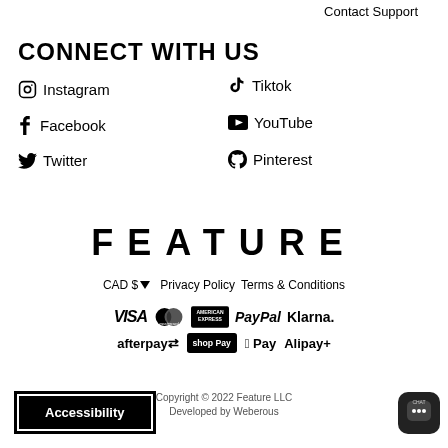Contact Support
CONNECT WITH US
Instagram
Tiktok
Facebook
YouTube
Twitter
Pinterest
FEATURE
CAD $ ∨  Privacy Policy  Terms & Conditions
[Figure (logo): Payment method logos: VISA, Mastercard, American Express, PayPal, Klarna, afterpay, shop Pay, Apple Pay, Alipay+]
Copyright © 2022 Feature LLC
Developed by Weberous
Accessibility